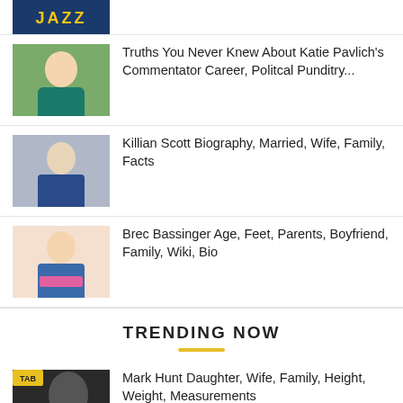[Figure (photo): Person wearing a Jazz jersey, partially visible at top]
[Figure (photo): Katie Pavlich smiling outdoors in a teal dress]
Truths You Never Knew About Katie Pavlich's Commentator Career, Politcal Punditry...
[Figure (photo): Killian Scott in a dark suit at an event]
Killian Scott Biography, Married, Wife, Family, Facts
[Figure (photo): Brec Bassinger in a blue and pink halter dress]
Brec Bassinger Age, Feet, Parents, Boyfriend, Family, Wiki, Bio
TRENDING NOW
[Figure (photo): Mark Hunt headshot with TAB sponsorship text]
Mark Hunt Daughter, Wife, Family, Height, Weight, Measurements